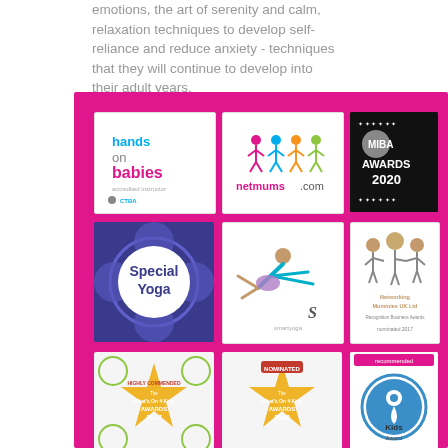emotions, the art of serenity and calm, relaxation techniques to develop self-reliance and reduce anxiety - techniques that they will continue to develop into their adult years.
[Figure (infographic): Pink background section containing a grid of logos: hands on babies accredited instructor, netmums.com, MIBA Awards 2020, Special Yoga, yoga pose illustration, Networking Mummies UK Ltd nominated 2017, What's On 4 Kids Awards 2017 Highly Commended, What's On 4 Kids Awards 2018 Nominated, Kids Award 2018. Below logos are social media icons for Facebook, Twitter, Instagram, LinkedIn, and a scroll-to-top button. At the bottom a Children's Activities Association logo.]